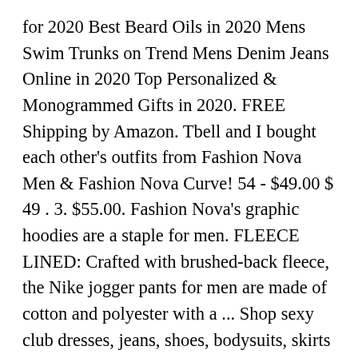for 2020 Best Beard Oils in 2020 Mens Swim Trunks on Trend Mens Denim Jeans Online in 2020 Top Personalized & Monogrammed Gifts in 2020. FREE Shipping by Amazon. Tbell and I bought each other's outfits from Fashion Nova Men & Fashion Nova Curve! 54 - $49.00 $ 49 . 3. $55.00. Fashion Nova's graphic hoodies are a staple for men. FLEECE LINED: Crafted with brushed-back fleece, the Nike jogger pants for men are made of cotton and polyester with a ... Shop sexy club dresses, jeans, shoes, bodysuits, skirts and more. Shipped with USPS Priority Mail. 1 ... Reg. A black graphic hoodie for men calling out your favorite album worn with black jeans or shorts. Condition is "Pre-owned". Buy